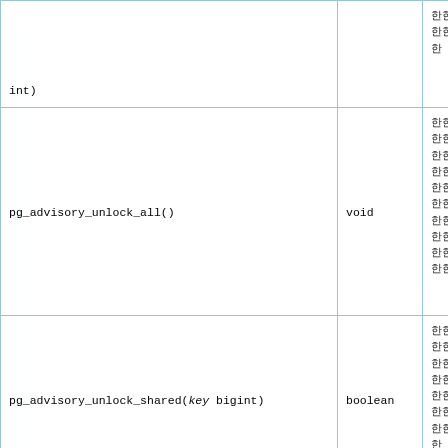| Function | Return Type | Description |
| --- | --- | --- |
| int) |  | 한국어 설명 텍스트 |
| pg_advisory_unlock_all() | void | 한국어 설명 텍스트(여러 줄) |
| pg_advisory_unlock_shared(key bigint) | boolean | 한국어 설명 텍스트 |
| pg_advisory_unlock_shared(key1 int, key2 int) | boolean | 한국어 설명 텍스트 |